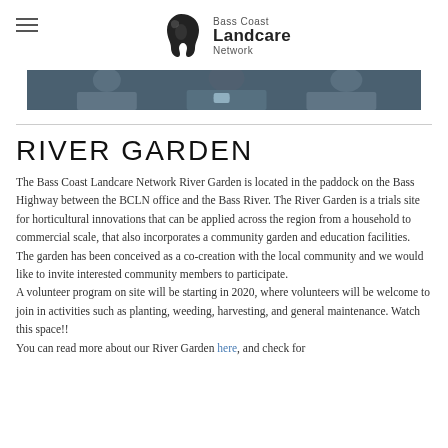Bass Coast Landcare Network
[Figure (photo): Partial view of a photo strip showing people at a table, cropped at the top of the content area]
RIVER GARDEN
The Bass Coast Landcare Network River Garden is located in the paddock on the Bass Highway between the BCLN office and the Bass River. The River Garden is a trials site for horticultural innovations that can be applied across the region from a household to commercial scale, that also incorporates a community garden and education facilities.  The garden has been conceived as a co-creation with the local community and we would like to invite interested community members to participate.
A volunteer program on site will be starting in 2020, where volunteers will be welcome to join in activities such as planting, weeding, harvesting, and general maintenance. Watch this space!!
You can read more about our River Garden here, and check for